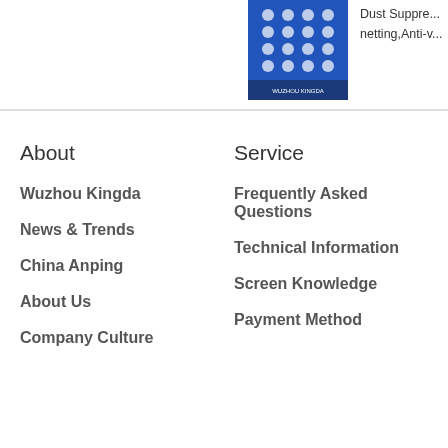[Figure (photo): Blue perforated/grid panel product image with company logo at bottom]
Dust Suppre... netting,Anti-v...
About
Wuzhou Kingda
News & Trends
China Anping
About Us
Company Culture
Service
Frequently Asked Questions
Technical Information
Screen Knowledge
Payment Method
Copy © 2012     Beijing Wuzhou Kingda International Trading Co., Ltd